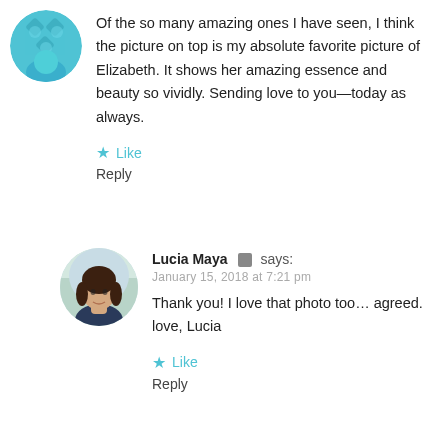[Figure (illustration): Circular teal avatar with diamond/flower pattern]
Of the so many amazing ones I have seen, I think the picture on top is my absolute favorite picture of Elizabeth. It shows her amazing essence and beauty so vividly. Sending love to you—today as always.
Like
Reply
[Figure (photo): Circular photo of Lucia Maya, a woman with dark hair]
Lucia Maya says:
January 15, 2018 at 7:21 pm
Thank you! I love that photo too… agreed. love, Lucia
Like
Reply